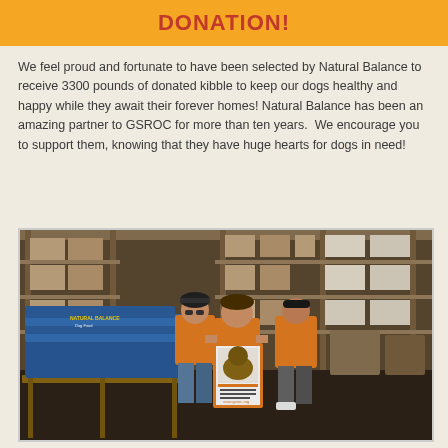DONATION!
We feel proud and fortunate to have been selected by Natural Balance to receive 3300 pounds of donated kibble to keep our dogs healthy and happy while they await their forever homes! Natural Balance has been an amazing partner to GSROC for more than ten years.  We encourage you to support them, knowing that they have huge hearts for dogs in need!
[Figure (photo): Three people wearing orange shirts standing in a warehouse in front of large pallets stacked with blue bags of dog food and boxes. The person in the center is holding an orange-framed sign featuring a German Shepherd dog with text about adoption and www.gsroc.org.]